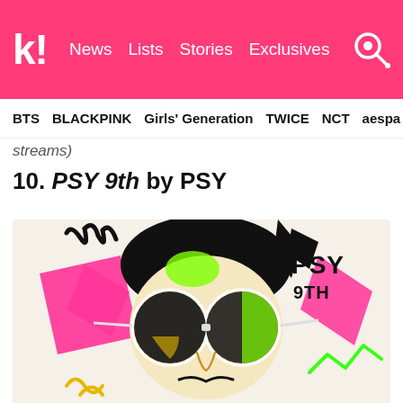k! News Lists Stories Exclusives
BTS BLACKPINK Girls' Generation TWICE NCT aespa
streams)
10. PSY 9th by PSY
[Figure (illustration): PSY 9th album cover art showing a stylized illustration of PSY wearing round sunglasses, with green hair highlight, pink geometric shapes, and the text PSY 9TH in the upper right corner]